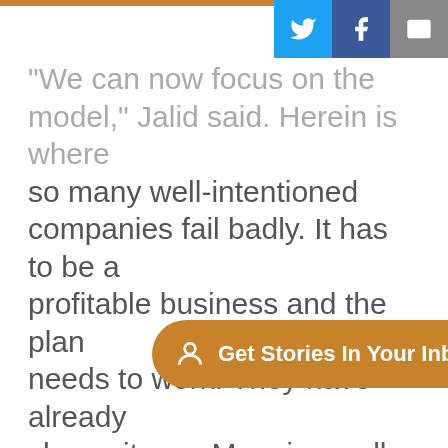"We can now focus on the model," Jalid said. Herein is where so many well-intentioned companies fail badly. It has to be a profitable business and the plan needs to work. They have already shown it can. Meaning well isn't enough. You have to turn a profit, grow, employ people and expand.

"We're now looking at investors, opportunities in Europe to expand this model," she said.

Every single facility that gets built